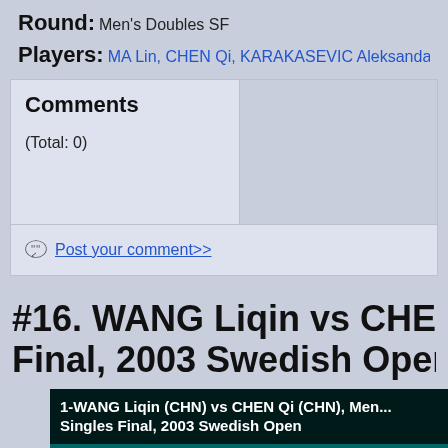Round: Men's Doubles SF
Players: MA Lin, CHEN Qi, KARAKASEVIC Aleksandar, TOKIC Bo...
| Comments |  |
| --- | --- |
| (Total: 0) |  |
Post your comment>>
#16. WANG Liqin vs CHEN Qi, Men's Final, 2003 Swedish Open.
[Figure (screenshot): Video thumbnail showing '1-WANG Liqin (CHN) vs CHEN Qi (CHN), Men's Singles Final, 2003 Swedish Open' with 'Alex Table Tennis' channel label and 'Player error' message on teal background]